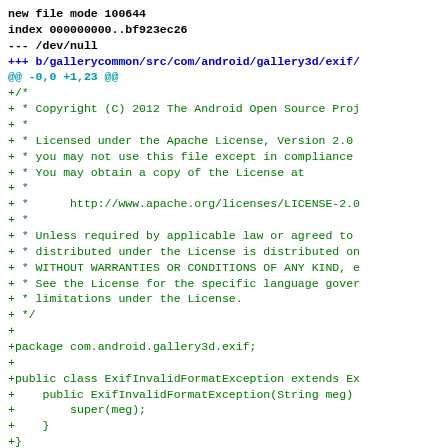new file mode 100644
index 000000000..bf923ec26
--- /dev/null
+++ b/gallerycommon/src/com/android/gallery3d/exif/
@@ -0,0 +1,23 @@
+/*
+ * Copyright (C) 2012 The Android Open Source Proj
+ *
+ * Licensed under the Apache License, Version 2.0
+ * you may not use this file except in compliance
+ * You may obtain a copy of the License at
+ *
+ *      http://www.apache.org/licenses/LICENSE-2.0
+ *
+ * Unless required by applicable law or agreed to
+ * distributed under the License is distributed on
+ * WITHOUT WARRANTIES OR CONDITIONS OF ANY KIND, e
+ * See the License for the specific language gover
+ * limitations under the License.
+ */
+
+package com.android.gallery3d.exif;
+
+public class ExifInvalidFormatException extends Ex
+    public ExifInvalidFormatException(String meg)
+        super(meg);
+    }
+}
\ No newline at end of file